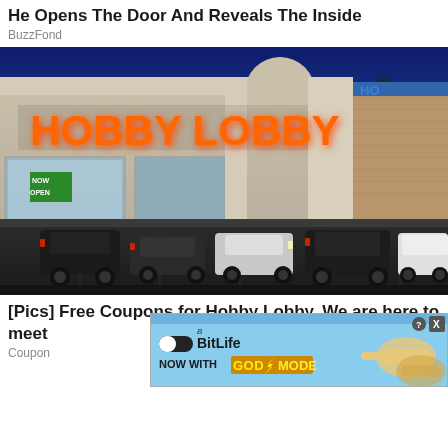He Opens The Door And Reveals The Inside
BuzzFond
[Figure (photo): Exterior photo of a Hobby Lobby store at night/dusk. Large illuminated orange HOBBY LOBBY sign on a beige/cream colored building facade. Parking lot in foreground with several dark and light colored cars. Blue night sky in background. A 'NOW OPEN' sign visible in lower left window area.]
[Pics] Free Coupons for Hobby Lobby. We are here to meet
Coupon
[Figure (infographic): BitLife advertisement banner with blue background. Logo shows 'BitLife' with a pill-shaped icon. Text reads 'NOW WITH GOD MODE' in yellow/orange stylized font. Right side shows illustrated cartoon hands pointing. Top right corner has question mark and X close buttons.]